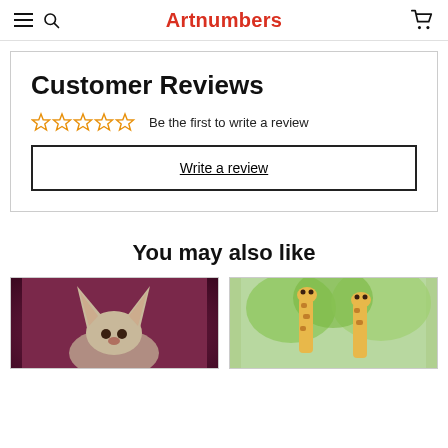Artnumbers
Customer Reviews
Be the first to write a review
Write a review
You may also like
[Figure (photo): Product image showing a fennec fox on a purple/magenta background]
[Figure (photo): Product image showing giraffes among green foliage]